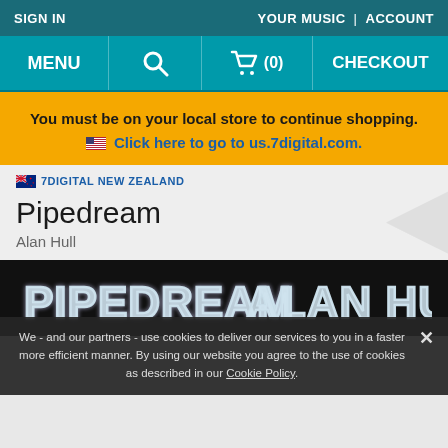SIGN IN   YOUR MUSIC | ACCOUNT
MENU  [search] [cart] (0)  CHECKOUT
You must be on your local store to continue shopping. Click here to go to us.7digital.com.
7DIGITAL NEW ZEALAND
Pipedream
Alan Hull
[Figure (photo): Album cover for Pipedream by Alan Hull showing stylized text 'PIPEDREAM ALAN HULL' in white bubble letters on black background]
We - and our partners - use cookies to deliver our services to you in a faster more efficient manner. By using our website you agree to the use of cookies as described in our Cookie Policy.